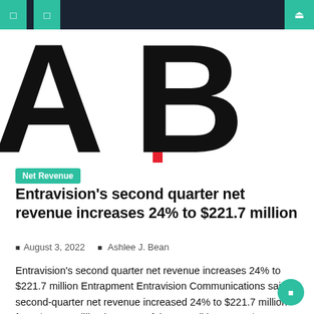Navigation bar with menu icons and search
[Figure (logo): Large stylized logo with bold black letters A and B (or similar) with a red vertical bar between them on white background]
Net Revenue
Entravision's second quarter net revenue increases 24% to $221.7 million
August 3, 2022   Ashlee J. Bean
Entravision's second quarter net revenue increases 24% to $221.7 million Entrapment Entravision Communications said second-quarter net revenue increased 24% to $221.7 million from $178.4 million in 2021. Of the overall increase, $44.2